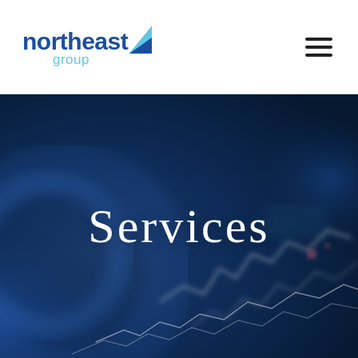[Figure (logo): Northeast Group logo with blue triangle mark, 'northeast' in dark blue bold text, and 'group' in light blue below]
[Figure (other): Hamburger menu icon (three horizontal lines) in top right corner]
[Figure (photo): Deep blue background hero image showing an abstract blurred financial/map graphic with white overlay lines resembling stock charts or map contours]
Services